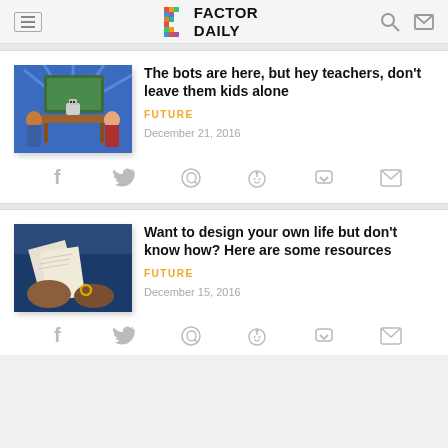FACTOR DAILY
[Figure (screenshot): Illustration of a classroom with a robot and students at a chalkboard]
The bots are here, but hey teachers, don't leave them kids alone
FUTURE
December 21, 2016
[Figure (screenshot): Social share icons: Facebook, Twitter, WhatsApp, Reddit, Pocket, Email]
[Figure (photo): Photo of hands holding a book or device with a blue background]
Want to design your own life but don't know how? Here are some resources
FUTURE
December 15, 2016
[Figure (screenshot): Social share icons row at bottom: Facebook, Twitter, WhatsApp, Reddit, Pocket, Email]